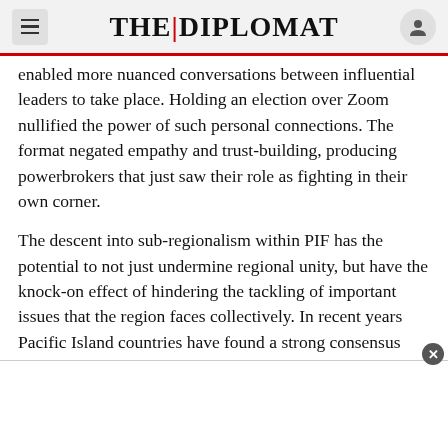THE DIPLOMAT
enabled more nuanced conversations between influential leaders to take place. Holding an election over Zoom nullified the power of such personal connections. The format negated empathy and trust-building, producing powerbrokers that just saw their role as fighting in their own corner.
The descent into sub-regionalism within PIF has the potential to not just undermine regional unity, but have the knock-on effect of hindering the tackling of important issues that the region faces collectively. In recent years Pacific Island countries have found a strong consensus and mutual interest over the issue of climate change, for example. This is an issu…